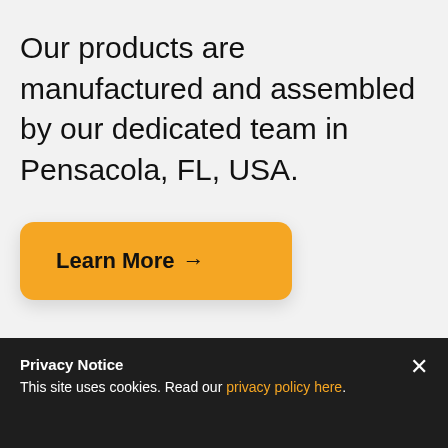Our products are manufactured and assembled by our dedicated team in Pensacola, FL, USA.
Learn More →
Privacy Notice
This site uses cookies. Read our privacy policy here.